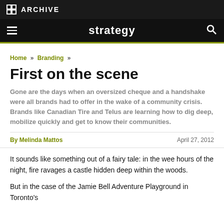M ARCHIVE
strategy
Home » Branding »
First on the scene
Gone are the days when an oversized cheque and a handshake were all brands had to offer in the wake of a community crisis. Brands like Canadian Tire and Telus are learning how to dig deep, mobilize quickly and get to know their communities.
By Melinda Mattos
April 27, 2012
It sounds like something out of a fairy tale: in the wee hours of the night, fire ravages a castle hidden deep within the woods.
But in the case of the Jamie Bell Adventure Playground in Toronto's